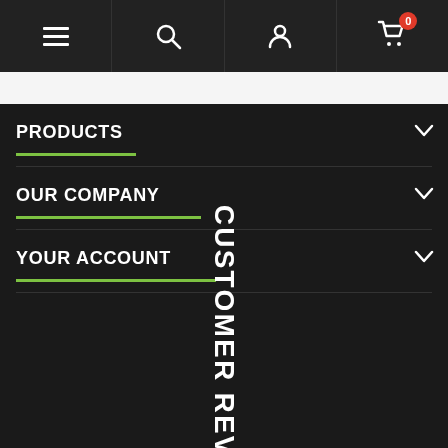[Figure (screenshot): Mobile website navigation bar with hamburger menu, search, account, and cart icons. Cart shows badge with 0.]
PRODUCTS
OUR COMPANY
YOUR ACCOUNT
CONTACT
CUSTOMER REVIEWS